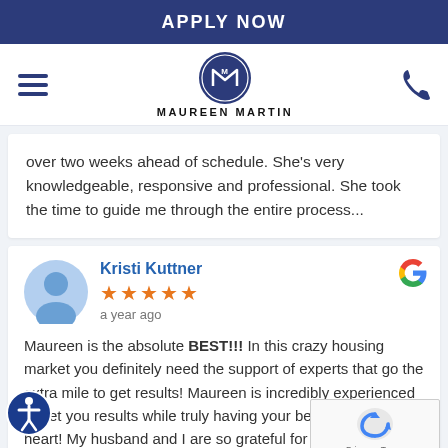APPLY NOW
[Figure (logo): Maureen Martin logo with circular M emblem and name text]
over two weeks ahead of schedule. She's very knowledgeable, responsive and professional. She took the time to guide me through the entire process...
Kristi Kuttner
★★★★★
a year ago
Maureen is the absolute BEST!!! In this crazy housing market you definitely need the support of experts that go the extra mile to get results! Maureen is incredibly experienced to get you results while truly having your best interests at heart! My husband and I are so grateful for